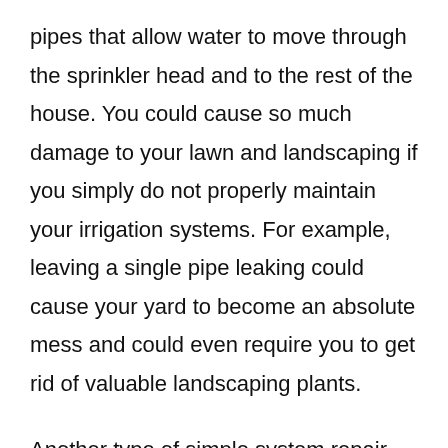pipes that allow water to move through the sprinkler head and to the rest of the house. You could cause so much damage to your lawn and landscaping if you simply do not properly maintain your irrigation systems. For example, leaving a single pipe leaking could cause your yard to become an absolute mess and could even require you to get rid of valuable landscaping plants.
Another type of simple system repair involves checking and changing clogged valves. In most cases, when a clogged valve is detected, you will need to remove the water supply valve so that you can find the clog and replace it with a new one.